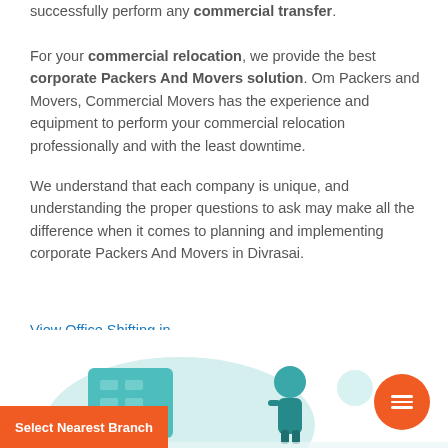successfully perform any commercial transfer.

For your commercial relocation, we provide the best corporate Packers And Movers solution. Om Packers and Movers, Commercial Movers has the experience and equipment to perform your commercial relocation professionally and with the least downtime.
We understand that each company is unique, and understanding the proper questions to ask may make all the difference when it comes to planning and implementing corporate Packers And Movers in Divrasai.
View Office Shifting in...
[Figure (illustration): Illustration of an office/building scene with teal and light blue shapes representing a building, a person, and decorative circles. Orange button with hamburger menu icon at bottom right. Orange 'Select Nearest Branch' bar at bottom left.]